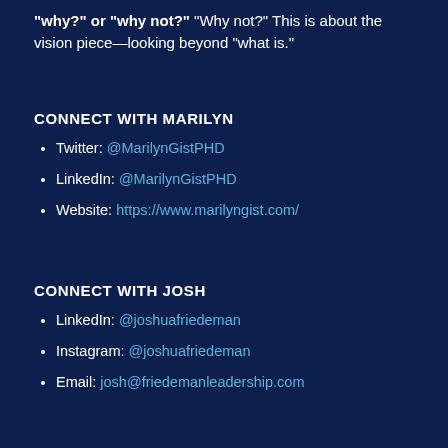"why?" or "why not?" "Why not?" This is about the vision piece—looking beyond "what is."
CONNECT WITH MARILYN
Twitter: @MarilynGistPHD
LinkedIn: @MarilynGistPHD
Website: https://www.marilyngist.com/
CONNECT WITH JOSH
LinkedIn: @joshuafriedeman
Instagram: @joshuafriedeman
Email: josh@friedemanleadership.com
Want a FREE list of weekly action steps to improve